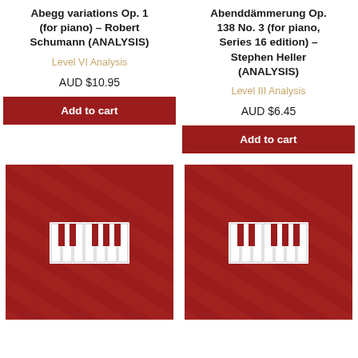Abegg variations Op. 1 (for piano) – Robert Schumann (ANALYSIS)
Level VI Analysis
AUD $10.95
Add to cart
Abenddämmerung Op. 138 No. 3 (for piano, Series 16 edition) – Stephen Heller (ANALYSIS)
Level III Analysis
AUD $6.45
Add to cart
[Figure (illustration): Red background with diagonal watermark pattern and white piano keyboard icon in center]
[Figure (illustration): Red background with diagonal watermark pattern and white piano keyboard icon in center]